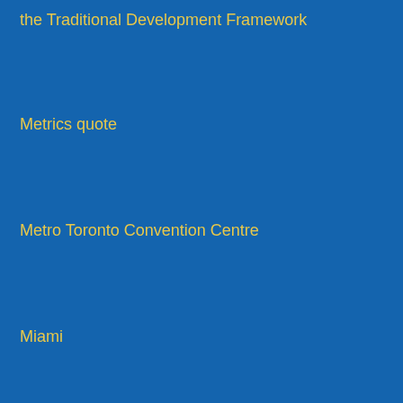the Traditional Development Framework
Metrics quote
Metro Toronto Convention Centre
Miami
Michael Peter
Michael Ring
Microsoft
Microsoft
Microsoft 365